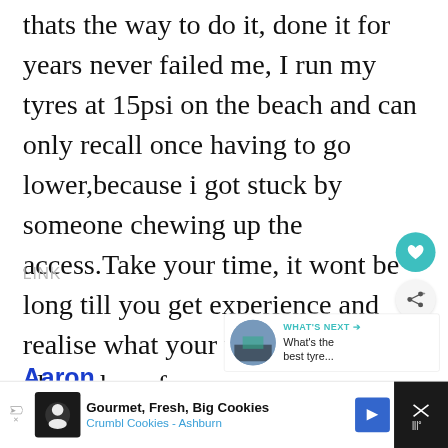thats the way to do it, done it for years never failed me, I run my tyres at 15psi on the beach and can only recall once having to go lower,because i got stuck by someone chewing up the access.Take your time, it wont be long till you get experience and realise what your vehicle can do. please be safe
LINK
WHAT'S NEXT → What's the best tyre...
Aaron
Gourmet, Fresh, Big Cookies Crumbl Cookies - Ashburn